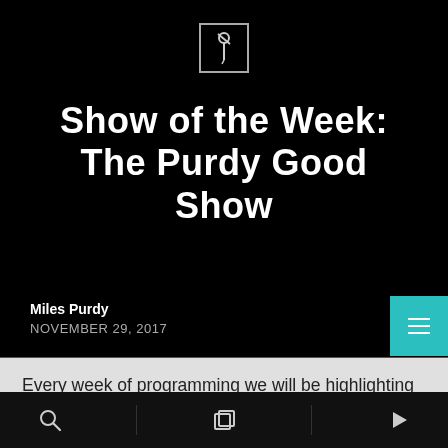[Figure (illustration): Pin/pushpin icon inside a square border, white outline on black background]
Show of the Week: The Purdy Good Show
Miles Purdy
NOVEMBER 29, 2017
Every week of programming we will be highlighting the Black Squirrel Radio Show of the Week! This week's show is The Purdy Good Show! The Purdy Good show airs every Saturday from 2PM-4PM and is hosted by Miles Purdy Describe your show and tell us how you came up with the
[Figure (screenshot): Bottom navigation bar with search, copy, and play icons on black background]